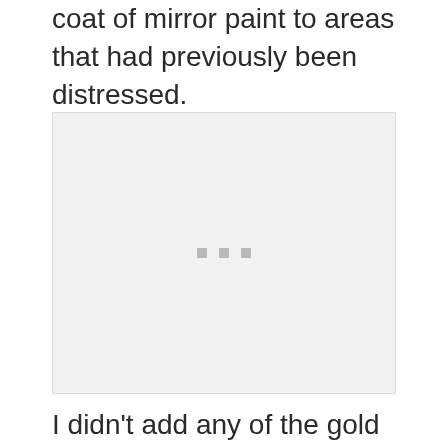are where I added both a very light coat of mirror paint to areas that had previously been distressed.
[Figure (photo): A placeholder image region showing a loading indicator with three small grey squares, representing a photo that has not fully loaded.]
I didn't add any of the gold paint to